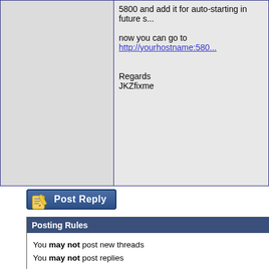| (user info area) | 5800 and add it for auto-starting in future s...

now you can go to http://yourhostname:580...

Regards
JKZfixme |
[Figure (other): Post Reply button with pencil/paper icon]
| Posting Rules |  |
| --- | --- |
| You may not post new threads |  |
| You may not post replies |  |
| You may not post attachments |  |
| You may not edit your posts |  |
| BB code is On |  |
| Smilies are On |  |
| [IMG] code is Off |  |